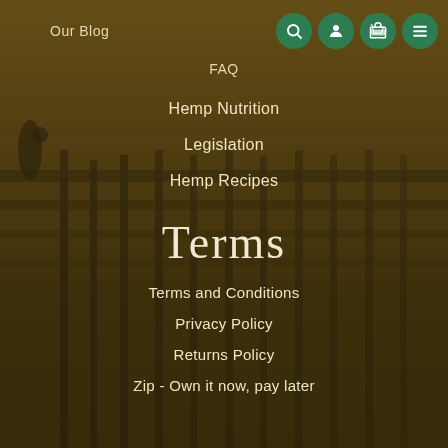[Figure (photo): A sepia-toned background photo of a pier/dock over water at dusk, with silhouetted figures and wooden pier structure visible.]
Our Blog
FAQ
Hemp Nutrition
Legislation
Hemp Recipes
Terms
Terms and Conditions
Privacy Policy
Returns Policy
Zip - Own it now, pay later